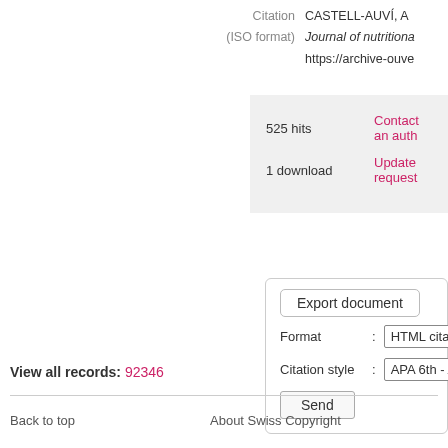Citation   CASTELL-AUVÍ, A
(ISO format)   Journal of nutritiona
https://archive-ouve
525 hits
Contact an auth
1 download
Update request
Export document
Format : HTML citation
Citation style : APA 6th - America
Send
View all records: 92346
Back to top
About Swiss Copyright